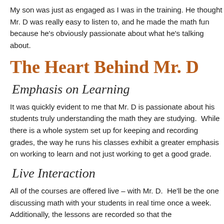My son was just as engaged as I was in the training. He thought Mr. D was really easy to listen to, and he made the math fun because he's obviously passionate about what he's talking about.
The Heart Behind Mr. D
Emphasis on Learning
It was quickly evident to me that Mr. D is passionate about his students truly understanding the math they are studying.  While there is a whole system set up for keeping and recording grades, the way he runs his classes exhibit a greater emphasis on working to learn and not just working to get a good grade.
Live Interaction
All of the courses are offered live – with Mr. D.  He'll be the one discussing math with your students in real time once a week.  Additionally, the lessons are recorded so that the